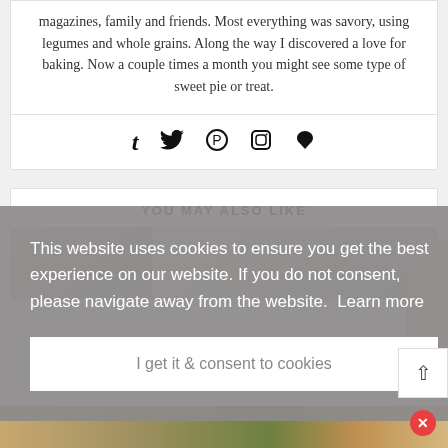magazines, family and friends. Most everything was savory, using legumes and whole grains. Along the way I discovered a love for baking. Now a couple times a month you might see some type of sweet pie or treat.
[Figure (infographic): Social media icons row: Tumblr (t), Twitter (bird), Pinterest (p), Instagram (camera), Bloglovin (heart)]
YOU MAY ALSO LIKE
This website uses cookies to ensure you get the best experience on our website. If you do not consent, please navigate away from the website.  Learn more
I get it & consent to cookies